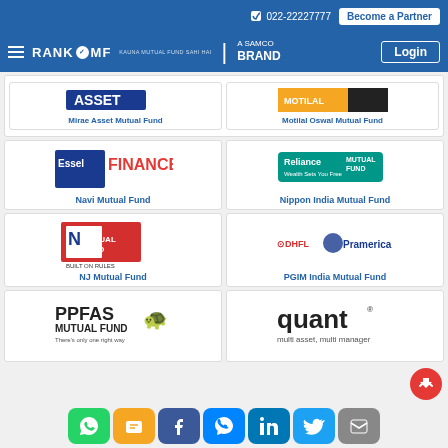022-22227777 | Become a Partner
[Figure (logo): RankMF - A Samco Brand logo with hamburger menu and Login button]
[Figure (logo): Mirae Asset Mutual Fund logo (partially visible)]
Mirae Asset Mutual Fund
[Figure (logo): Motilal Oswal Mutual Fund logo (partially visible)]
Motilal Oswal Mutual Fund
[Figure (logo): Essel Finance logo]
Navi Mutual Fund
[Figure (logo): Reliance Mutual Fund logo]
Nippon India Mutual Fund
[Figure (logo): NJ Mutual Fund - Built on Rules logo]
NJ Mutual Fund
[Figure (logo): DHFL Pramerica logo]
PGIM India Mutual Fund
[Figure (logo): PPFAS Mutual Fund logo]
[Figure (logo): Quant Mutual Fund - multi asset, multi manager logo]